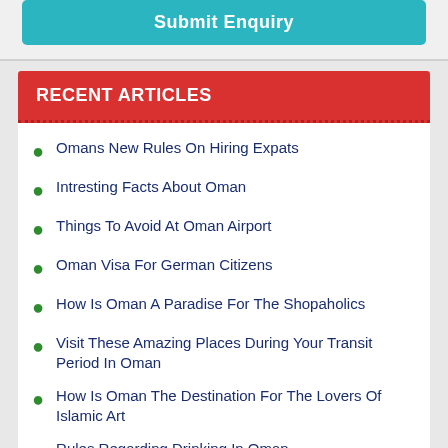Submit Enquiry
RECENT ARTICLES
Omans New Rules On Hiring Expats
Intresting Facts About Oman
Things To Avoid At Oman Airport
Oman Visa For German Citizens
How Is Oman A Paradise For The Shopaholics
Visit These Amazing Places During Your Transit Period In Oman
How Is Oman The Destination For The Lovers Of Islamic Art
Rules Regarding Drinking In Oman
Safety Regulations And Advice For Oman